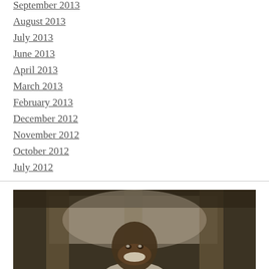September 2013
August 2013
July 2013
June 2013
April 2013
March 2013
February 2013
December 2012
November 2012
October 2012
July 2012
[Figure (photo): A smiling young African boy photographed inside a building with wooden pillars, sepia/warm-toned photograph]